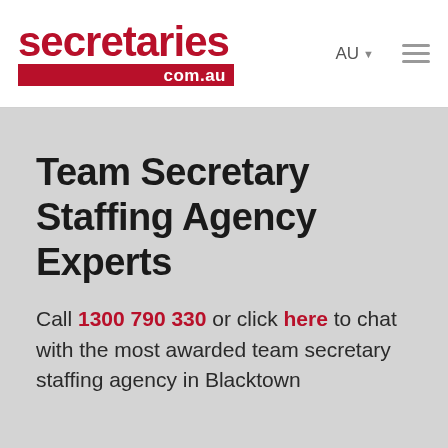[Figure (logo): secretaries.com.au logo with red text and red bar]
Team Secretary Staffing Agency Experts
Call 1300 790 330 or click here to chat with the most awarded team secretary staffing agency in Blacktown